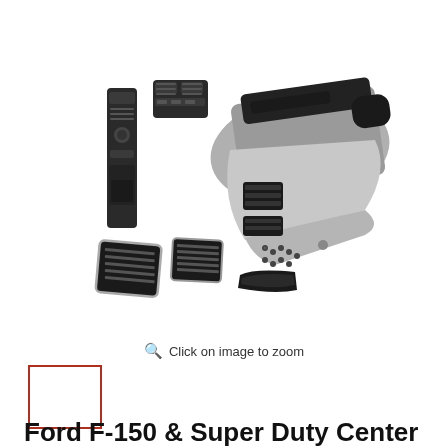[Figure (photo): Ford F-150 & Super Duty center console conversion kit components laid out on white background, including vent panels, console housing, mounting hardware, and trim pieces in black and gray]
Click on image to zoom
[Figure (photo): Small thumbnail image of the center console kit, framed with a red/orange border indicating the currently selected image]
Ford F-150 & Super Duty Center